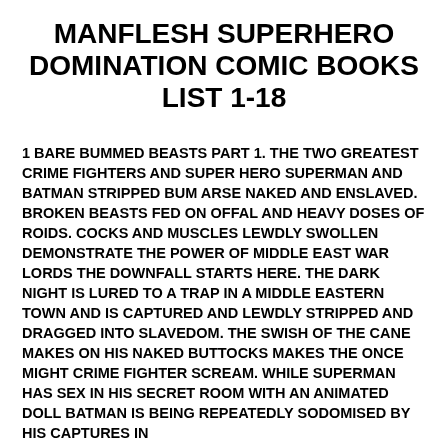MANFLESH SUPERHERO DOMINATION COMIC BOOKS LIST 1-18
1 BARE BUMMED BEASTS PART 1. THE TWO GREATEST CRIME FIGHTERS AND SUPER HERO SUPERMAN AND BATMAN STRIPPED BUM ARSE NAKED AND ENSLAVED. BROKEN BEASTS FED ON OFFAL AND HEAVY DOSES OF ROIDS. COCKS AND MUSCLES LEWDLY SWOLLEN DEMONSTRATE THE POWER OF MIDDLE EAST WAR LORDS THE DOWNFALL STARTS HERE. THE DARK NIGHT IS LURED TO A TRAP IN A MIDDLE EASTERN TOWN AND IS CAPTURED AND LEWDLY STRIPPED AND DRAGGED INTO SLAVEDOM. THE SWISH OF THE CANE MAKES ON HIS NAKED BUTTOCKS MAKES THE ONCE MIGHT CRIME FIGHTER SCREAM. WHILE SUPERMAN HAS SEX IN HIS SECRET ROOM WITH AN ANIMATED DOLL BATMAN IS BEING REPEATEDLY SODOMISED BY HIS CAPTURES IN